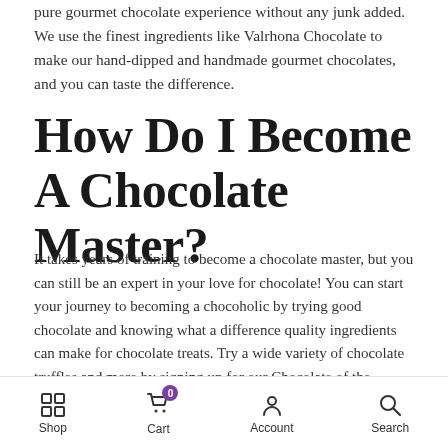pure gourmet chocolate experience without any junk added. We use the finest ingredients like Valrhona Chocolate to make our hand-dipped and handmade gourmet chocolates, and you can taste the difference.
How Do I Become A Chocolate Master?
It takes years of training to become a chocolate master, but you can still be an expert in your love for chocolate! You can start your journey to becoming a chocoholic by trying good chocolate and knowing what a difference quality ingredients can make for chocolate treats. Try a wide variety of chocolate truffles and more by signing up for our Chocolate of the Month Club here at Dorinda's Chocolates!
Stop by any of our Dorinda's Chocolates locations at The Summit
Shop  Cart 0  Account  Search